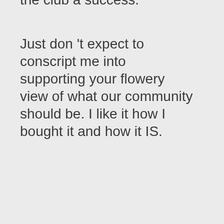the club a success.
Just don 't expect to conscript me into supporting your flowery view of what our community should be. I like it how I bought it and how it IS.
And please don 't jump to conclusions about the number of votes needed to get this thing through. We know that the